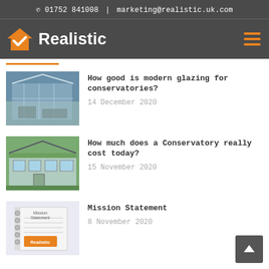01752 841008  |  marketing@realistic.uk.com
[Figure (logo): Realistic company logo with orange house icon and checkmark, white text 'Realistic' on dark background, hamburger menu icon]
How good is modern glazing for conservatories? — 14 December 2020
How much does a Conservatory really cost today? — 15 November 2020
Mission Statement — 8 November 2020